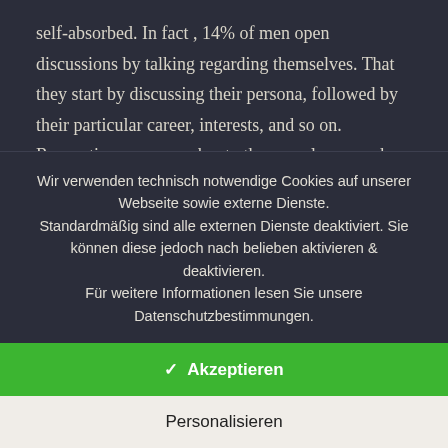self-absorbed. In fact , 14% of men open discussions by talking regarding themselves. That they start by discussing their persona, followed by their particular career, interests, and so on. Requesting concerns about other people can make a chat more interesting and get your respond rate up.

When you're using a web dating website, it is essential to
Wir verwenden technisch notwendige Cookies auf unserer Webseite sowie externe Dienste. Standardmäßig sind alle externen Dienste deaktiviert. Sie können diese jedoch nach belieben aktivieren & deaktivieren. Für weitere Informationen lesen Sie unsere Datenschutzbestimmungen.
✓  Akzeptieren
Personalisieren